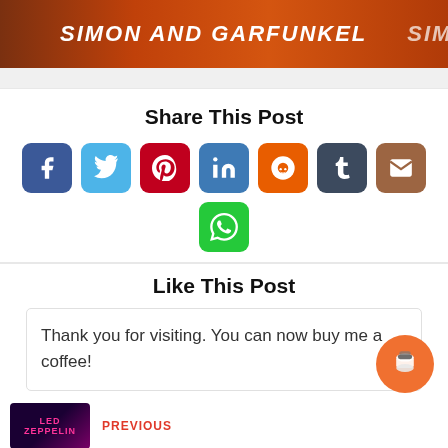[Figure (photo): Orange background banner with white bold italic text reading SIMON AND GARFUNKEL]
Share This Post
[Figure (infographic): Row of social media share buttons: Facebook, Twitter, Pinterest, LinkedIn, Reddit, Tumblr, Email, and WhatsApp]
Like This Post
Thank you for visiting. You can now buy me a coffee!
[Figure (photo): Led Zeppelin album thumbnail in bottom left corner]
PREVIOUS